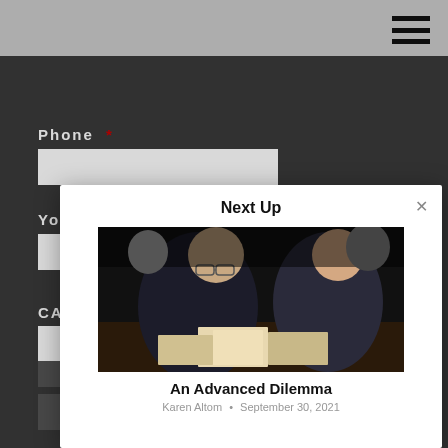Phone *
Yo[ur...]
CA[...]
Next Up
[Figure (photo): Two people seated at a table looking at printed materials/brochures in a dark setting]
An Advanced Dilemma
Karen Altom • September 30, 2021